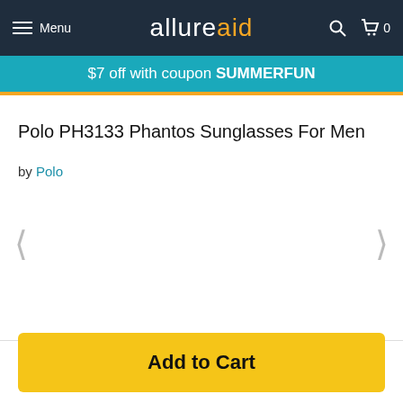allureaid — Menu | Cart 0
$7 off with coupon SUMMERFUN
Polo PH3133 Phantos Sunglasses For Men
by Polo
Add to Cart